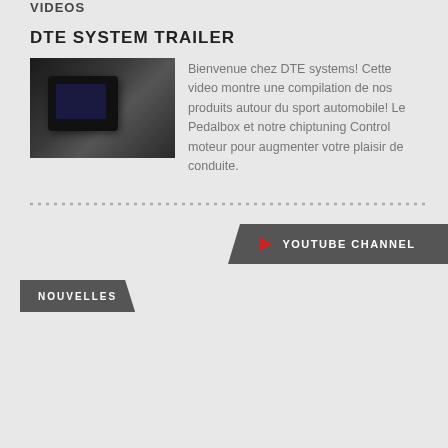Videos
DTE SYSTEM TRAILER
[Figure (photo): Dark automotive device/OBD module on dark surface]
Bienvenue chez DTE systems! Cette video montre une compilation de nos produits autour du sport automobile! Le Pedalbox et notre chiptuning Control moteur pour augmenter votre plaisir de conduite.
YOUTUBE CHANNEL
NOUVELLES
Nouvelles
BETTER ACCELERATION FOR AN AWESOME ASTON MARTI...
[Figure (photo): Aston Martin car image thumbnail]